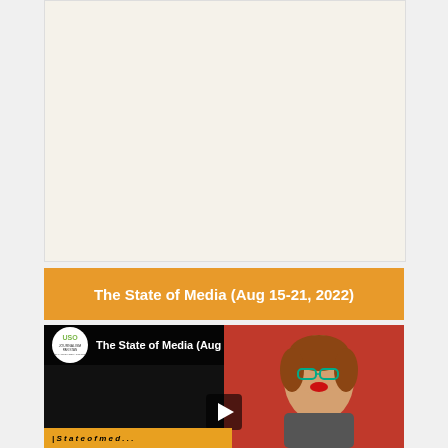[Figure (other): Advertisement placeholder area with light beige/cream background]
The State of Media (Aug 15-21, 2022)
[Figure (screenshot): YouTube video thumbnail for 'The State of Media (Aug 15-21, 2...)' with Journalism Pakistan logo, a woman's face on the right side, play button in the center, and orange lower-third bar.]